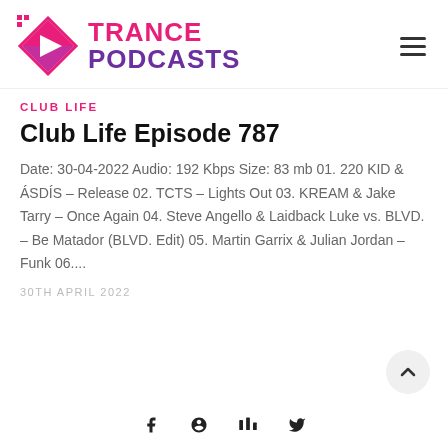[Figure (logo): Trance Podcasts logo with pink diamond play button icon and text TRANCE PODCASTS in pink and purple]
CLUB LIFE
Club Life Episode 787
Date: 30-04-2022 Audio: 192 Kbps Size: 83 mb 01. 220 KID & ÁSDÍS – Release 02. TCTS – Lights Out 03. KREAM & Jake Tarry – Once Again 04. Steve Angello & Laidback Luke vs. BLVD. – Be Matador (BLVD. Edit) 05. Martin Garrix & Julian Jordan – Funk 06....
30TH APRIL 2022